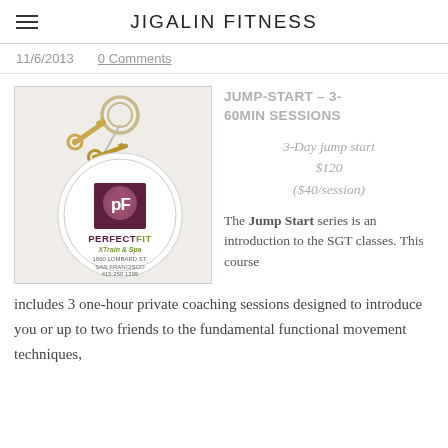JIGALIN FITNESS
11/6/2013   0 Comments
[Figure (photo): Key ring with keys resting on a Perfect Fit XTrain & Spa keychain/fob. The fob is white and circular with the PF logo (dark maroon square with pink circle and white PF letters) and text: PERFECTFIT, XTrain & Spa, 1660 LOMBARD ST., SAN FRANCISCO, 415.250.1295]
JUMP-START – 3-60MIN SESSIONS

3-Day jump start
$120
($40/session)

The Jump Start series is an introduction to the SGT classes. This course
includes 3 one-hour private coaching sessions designed to introduce you or up to two friends to the fundamental functional movement techniques,